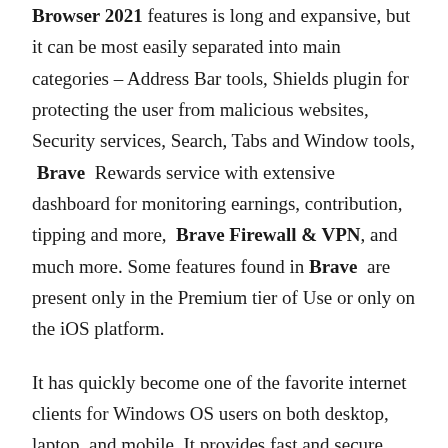Browser 2021 features is long and expansive, but it can be most easily separated into main categories – Address Bar tools, Shields plugin for protecting the user from malicious websites, Security services, Search, Tabs and Window tools, Brave Rewards service with extensive dashboard for monitoring earnings, contribution, tipping and more, Brave Firewall & VPN, and much more. Some features found in Brave are present only in the Premium tier of Use or only on the iOS platform.
It has quickly become one of the favorite internet clients for Windows OS users on both desktop, laptop, and mobile. It provides fast and secure browsing, automatically blocks ads and trackers, and offers an innovative and secure way to get rewarded for browsing. Three times faster than Chrome. Better privacy by